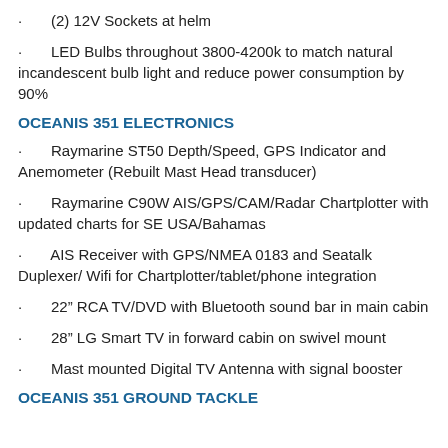(2) 12V Sockets at helm
LED Bulbs throughout 3800-4200k to match natural incandescent bulb light and reduce power consumption by 90%
OCEANIS 351 ELECTRONICS
Raymarine ST50 Depth/Speed, GPS Indicator and Anemometer (Rebuilt Mast Head transducer)
Raymarine C90W AIS/GPS/CAM/Radar Chartplotter with updated charts for SE USA/Bahamas
AIS Receiver with GPS/NMEA 0183 and Seatalk Duplexer/ Wifi for Chartplotter/tablet/phone integration
22” RCA TV/DVD with Bluetooth sound bar in main cabin
28” LG Smart TV in forward cabin on swivel mount
Mast mounted Digital TV Antenna with signal booster
OCEANIS 351 GROUND TACKLE